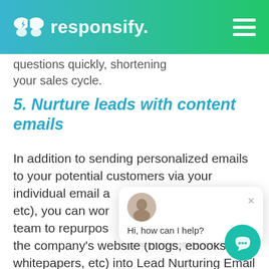responsify.
questions quickly, shortening your sales cycle.
5. Nurture leads with content emails
In addition to sending personalized emails to your potential customers via your individual email account (Gmail, Outlook, etc), you can work with your marketing team to repurpose the content already on the company's website (blogs, ebooks, whitepapers, etc) into Lead Nurturing Email Campaigns. These are a collection